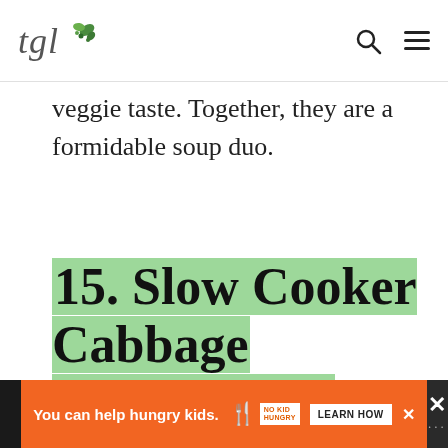tgl [logo with leaves] — navigation bar with search and menu icons
veggie taste. Together, they are a formidable soup duo.
15. Slow Cooker Cabbage Soup (paleo)
[Figure (photo): Photo of a white bowl filled with red tomato-based cabbage soup on a grey wooden surface, with a whole tomato visible to the right]
You can help hungry kids. NO KID HUNGRY LEARN HOW